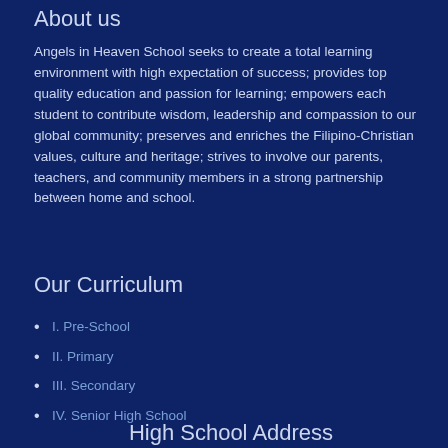About us
Angels in Heaven School seeks to create a total learning environment with high expectation of success; provides top quality education and passion for learning; empowers each student to contribute wisdom, leadership and compassion to our global community; preserves and enriches the Filipino-Christian values, culture and heritage; strives to involve our parents, teachers, and community members in a strong partnership between home and school.
Our Curriculum
I. Pre-School
II. Primary
III. Secondary
IV. Senior High School
High School Address